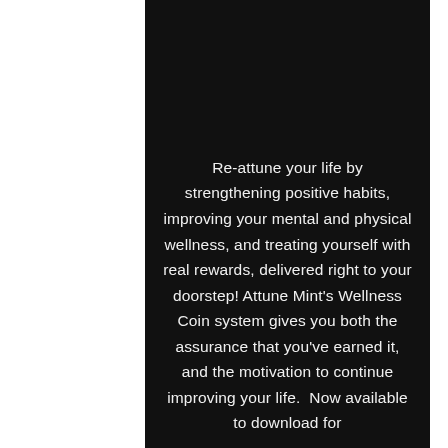Re-attune your life by strengthening positive habits, improving your mental and physical wellness, and treating yourself with real rewards, delivered right to your doorstep! Attune Mint's Wellness Coin system gives you both the assurance that you've earned it, and the motivation to continue improving your life.  Now available to download for